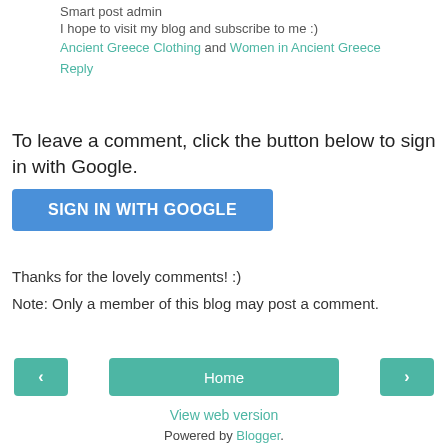Smart post admin
I hope to visit my blog and subscribe to me :)
Ancient Greece Clothing and Women in Ancient Greece
Reply
To leave a comment, click the button below to sign in with Google.
[Figure (other): Blue button labeled SIGN IN WITH GOOGLE]
Thanks for the lovely comments! :)
Note: Only a member of this blog may post a comment.
[Figure (other): Navigation bar with left arrow button, Home button, and right arrow button]
View web version
Powered by Blogger.